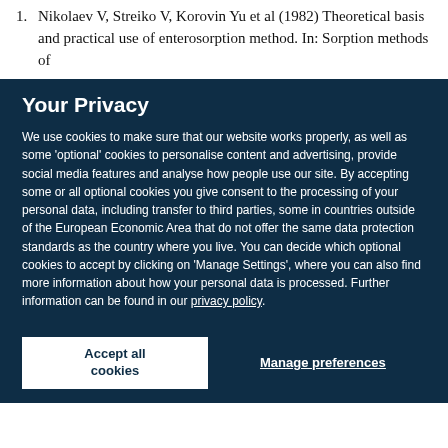1. Nikolaev V, Streiko V, Korovin Yu et al (1982) Theoretical basis and practical use of enterosorption method. In: Sorption methods of
Your Privacy
We use cookies to make sure that our website works properly, as well as some 'optional' cookies to personalise content and advertising, provide social media features and analyse how people use our site. By accepting some or all optional cookies you give consent to the processing of your personal data, including transfer to third parties, some in countries outside of the European Economic Area that do not offer the same data protection standards as the country where you live. You can decide which optional cookies to accept by clicking on 'Manage Settings', where you can also find more information about how your personal data is processed. Further information can be found in our privacy policy.
Accept all cookies
Manage preferences